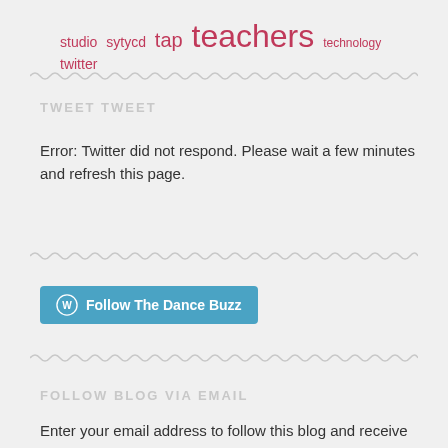studio sytycd tap teachers technology twitter
TWEET TWEET
Error: Twitter did not respond. Please wait a few minutes and refresh this page.
[Figure (other): Follow The Dance Buzz WordPress follow button]
FOLLOW BLOG VIA EMAIL
Enter your email address to follow this blog and receive